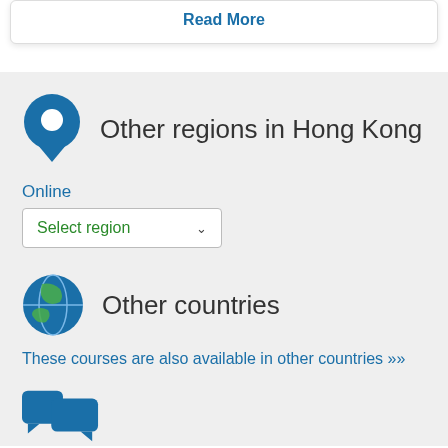Read More
Other regions in Hong Kong
Online
Select region
Other countries
These courses are also available in other countries ››